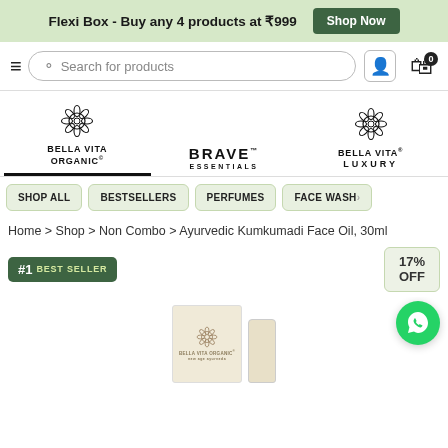Flexi Box - Buy any 4 products at ₹999  Shop Now
[Figure (screenshot): Navigation bar with hamburger menu, search box 'Search for products', user icon, and cart icon with badge 0]
[Figure (logo): Three brand logos: Bella Vita Organic (active/underlined), Brave Essentials, Bella Vita Luxury]
SHOP ALL
BESTSELLERS
PERFUMES
FACE WASH
Home > Shop > Non Combo > Ayurvedic Kumkumadi Face Oil, 30ml
[Figure (infographic): #1 BEST SELLER badge in green, and 17% OFF discount box on the right]
[Figure (photo): Product image showing Bella Vita Organic Ayurvedic Kumkumadi Face Oil box and bottle, with WhatsApp chat button]